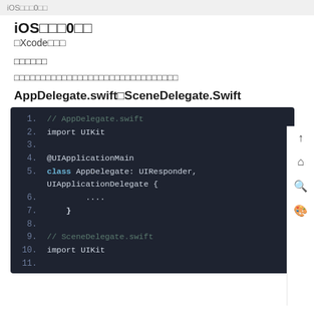iOS□□□0□□
iOS□□□0□□
□Xcode□□□
□□□□□□
□□□□□□□□□□□□□□□□□□□□□□□□□□□□□□□
AppDelegate.swift□SceneDelegate.Swift
[Figure (screenshot): Code editor screenshot showing AppDelegate.swift and SceneDelegate.swift file contents with Swift code including imports, @UIApplicationMain annotation, class AppDelegate: UIResponder, UIApplicationDelegate { } and import UIKit for SceneDelegate]